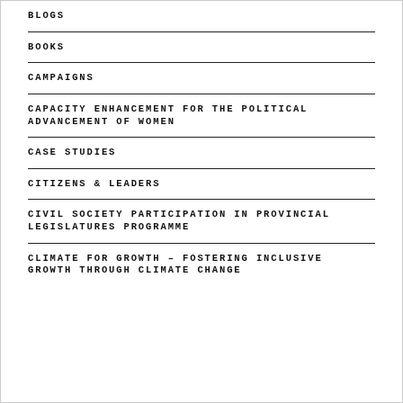BLOGS
BOOKS
CAMPAIGNS
CAPACITY ENHANCEMENT FOR THE POLITICAL ADVANCEMENT OF WOMEN
CASE STUDIES
CITIZENS & LEADERS
CIVIL SOCIETY PARTICIPATION IN PROVINCIAL LEGISLATURES PROGRAMME
CLIMATE FOR GROWTH – FOSTERING INCLUSIVE GROWTH THROUGH CLIMATE CHANGE